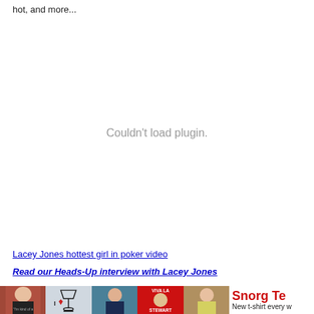hot, and more...
[Figure (other): Couldn't load plugin. — large empty white area where a media plugin failed to load]
Lacey Jones hottest girl in poker video
Read our Heads-Up interview with Lacey Jones
[Figure (photo): A banner/advertisement strip showing five small photos of people in t-shirts, followed by the Snorg Tees logo and tagline 'New t-shirt every w[eek]']